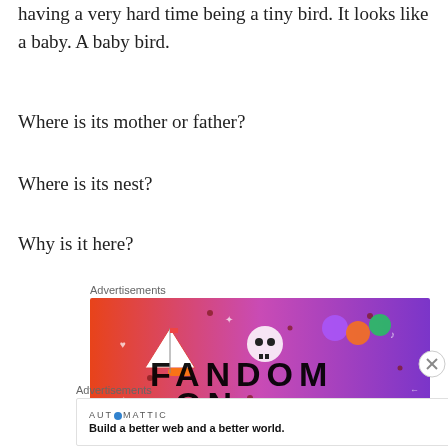having a very hard time being a tiny bird. It looks like a baby. A baby bird.
Where is its mother or father?
Where is its nest?
Why is it here?
Advertisements
[Figure (illustration): Fandom advertisement banner with orange to purple gradient background, showing a sailboat sticker, skull, dice, and the text FANDOM ON in bold letters with decorative doodles]
Advertisements
[Figure (logo): Automattic advertisement: logo text AUT⊙MATTIC and tagline 'Build a better web and a better world.']